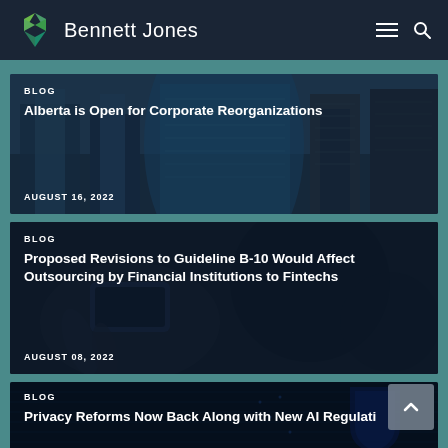Bennett Jones
[Figure (screenshot): Blog card: Alberta is Open for Corporate Reorganizations, August 16, 2022, with city buildings background]
[Figure (screenshot): Blog card: Proposed Revisions to Guideline B-10 Would Affect Outsourcing by Financial Institutions to Fintechs, August 08, 2022, with hand holding phone background]
[Figure (screenshot): Blog card: Privacy Reforms Now Back Along with New AI Regulati... with digital shield background]